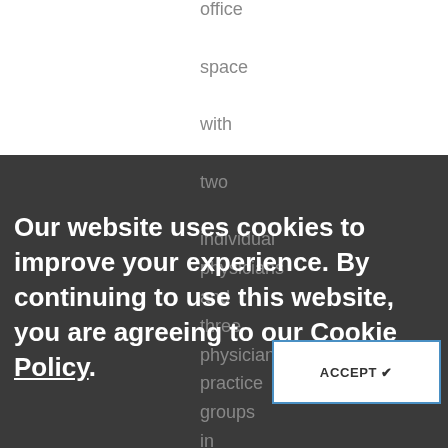office space with two individual physicians and three physician practice groups in violation of the Stark Law
Our website uses cookies to improve your experience. By continuing to use this website, you are agreeing to our Cookie Policy.
ACCEPT ✔